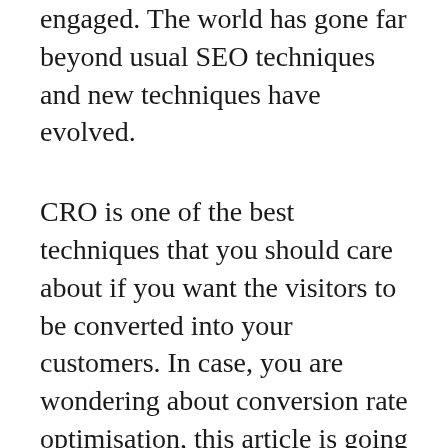engaged. The world has gone far beyond usual SEO techniques and new techniques have evolved.
CRO is one of the best techniques that you should care about if you want the visitors to be converted into your customers. In case, you are wondering about conversion rate optimisation, this article is going to help you a lot. Let us get it started with the basics first.
What is conversion rate optimisation?